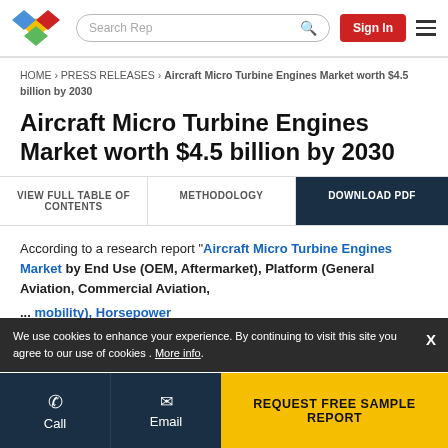Search Rep | Sign In | Navigation
HOME › PRESS RELEASES › Aircraft Micro Turbine Engines Market worth $4.5 billion by 2030
Aircraft Micro Turbine Engines Market worth $4.5 billion by 2030
VIEW FULL TABLE OF CONTENTS | METHODOLOGY | DOWNLOAD PDF
According to a research report "Aircraft Micro Turbine Engines Market by End Use (OEM, Aftermarket), Platform (General Aviation, Commercial Aviation ...), Horsepower
We use cookies to enhance your experience. By continuing to visit this site you agree to our use of cookies . More info.  X
Call | Email | REQUEST FREE SAMPLE REPORT